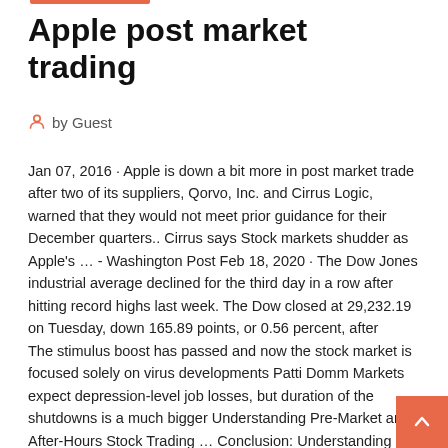Apple post market trading
by Guest
Jan 07, 2016 · Apple is down a bit more in post market trade after two of its suppliers, Qorvo, Inc. and Cirrus Logic, warned that they would not meet prior guidance for their December quarters.. Cirrus says Stock markets shudder as Apple's … - Washington Post Feb 18, 2020 · The Dow Jones industrial average declined for the third day in a row after hitting record highs last week. The Dow closed at 29,232.19 on Tuesday, down 165.89 points, or 0.56 percent, after
The stimulus boost has passed and now the stock market is focused solely on virus developments Patti Domm Markets expect depression-level job losses, but duration of the shutdowns is a much bigger Understanding Pre-Market and After-Hours Stock Trading … Conclusion: Understanding Pre-Market and After-Hours Stock Trading. If you are looking to edge in your stock trading, placing trades in the pre-market